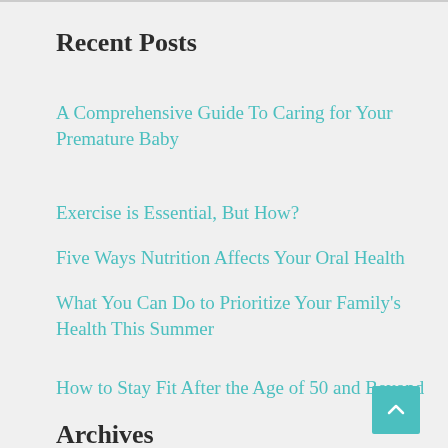Recent Posts
A Comprehensive Guide To Caring for Your Premature Baby
Exercise is Essential, But How?
Five Ways Nutrition Affects Your Oral Health
What You Can Do to Prioritize Your Family's Health This Summer
How to Stay Fit After the Age of 50 and Beyond
Recent Comments
Archives